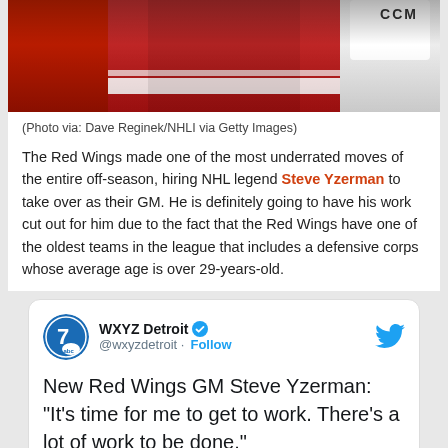[Figure (photo): Cropped photo of a hockey player wearing a red Detroit Red Wings jersey with white stripes and CCM gloves]
(Photo via: Dave Reginek/NHLI via Getty Images)
The Red Wings made one of the most underrated moves of the entire off-season, hiring NHL legend Steve Yzerman to take over as their GM. He is definitely going to have his work cut out for him due to the fact that the Red Wings have one of the oldest teams in the league that includes a defensive corps whose average age is over 29-years-old.
[Figure (screenshot): Embedded tweet from WXYZ Detroit (@wxyzdetroit) with verified badge and Follow button. Tweet text reads: New Red Wings GM Steve Yzerman: "It's time for me to get to work. There's a lot of work to be done." Includes a preview image of a Red Wings banner.]